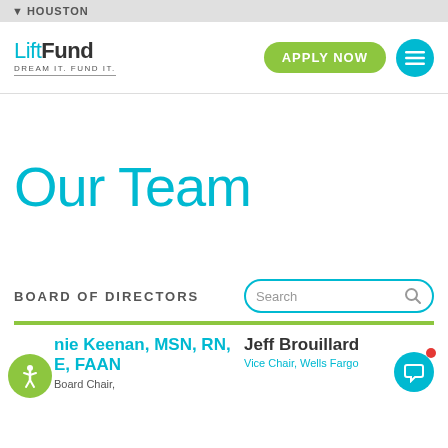HOUSTON
[Figure (logo): LiftFund logo with tagline DREAM IT. FUND IT., plus APPLY NOW button and menu icon]
Our Team
BOARD OF DIRECTORS
Search
nie Keenan, MSN, RN, E, FAAN
Board Chair,
Jeff Brouillard
Vice Chair, Wells Fargo